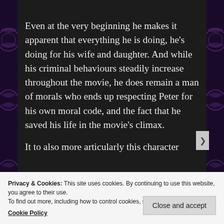Even at the very beginning he makes it apparent that everything he is doing, he’s doing for his wife and daughter. And while his criminal behaviours steadily increase throughout the movie, he does remain a man of morals who ends up respecting Peter for his own moral code, and the fact that he saved his life in the movie’s climax.
It to also more articularly this character...
Privacy & Cookies: This site uses cookies. By continuing to use this website, you agree to their use.
To find out more, including how to control cookies, see here:
Cookie Policy